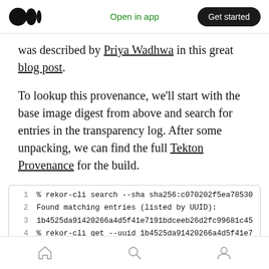Medium app navigation bar with logo, Open in app, Get started
was described by Priya Wadhwa in this great blog post.
To lookup this provenance, we'll start with the base image digest from above and search for entries in the transparency log. After some unpacking, we can find the full Tekton Provenance for the build.
[Figure (screenshot): Code block showing terminal commands: 1) % rekor-cli search --sha sha256:c070202f5ea78530  2) Found matching entries (listed by UUID):  3) 1b4525da91420266a4d5f41e7191bdceeb26d2fc99681c45  4) % rekor-cli get --uuid 1b4525da91420266a4d5f41e7]
Bottom navigation bar with home, search, and profile icons